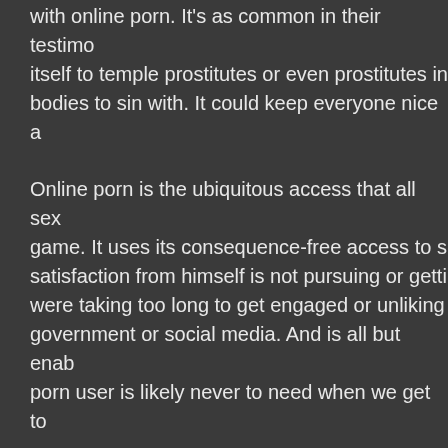with online porn. It's as common in their testimo itself to temple prostitutes or even prostitutes in bodies to sin with. It could keep everyone nice a
Online porn is the ubiquitous access that all sex game. It uses its consequence-free access to s satisfaction from himself is not pursuing or getti were taking too long to get engaged or unliking government or social media. And is all but enab porn user is likely never to need when we get to
Porns success is that it has no immediate conse him? Did he catch any venereal diseases from t illicit sex even more so. So Lust moved online f makes the session of self-satisfaction somethin would have you be able to not even undo your b
Onli...